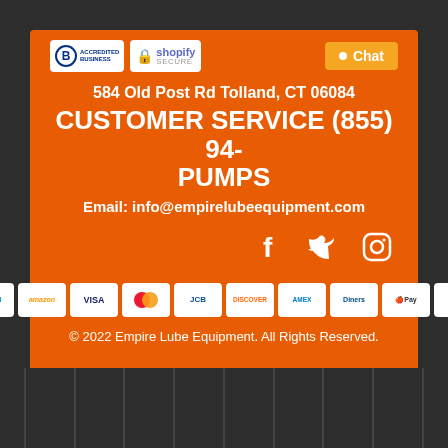[Figure (logo): BBB Accredited Business badge and Shopify Secure badge]
Chat button with orange background
584 Old Post Rd Tolland, CT 06084
CUSTOMER SERVICE (855) 94-PUMPS
Email: info@empirelubeequipment.com
[Figure (illustration): Social media icons: Facebook, Twitter, Instagram]
[Figure (illustration): Payment method logos: PayPal, Amazon, VISA, Mastercard, JCB, Discover, AMEX, Diners Club, Apple Pay, Google Pay]
© 2022 Empire Lube Equipment. All Rights Reserved.